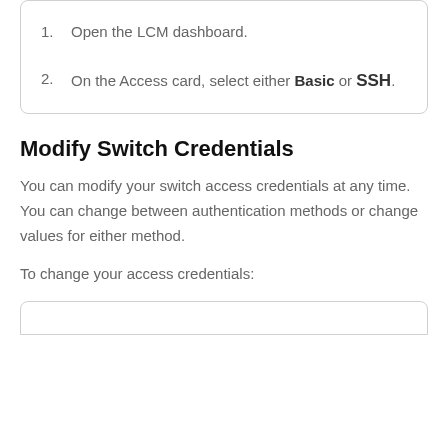1. Open the LCM dashboard.
2. On the Access card, select either Basic or SSH.
Modify Switch Credentials
You can modify your switch access credentials at any time. You can change between authentication methods or change values for either method.
To change your access credentials: